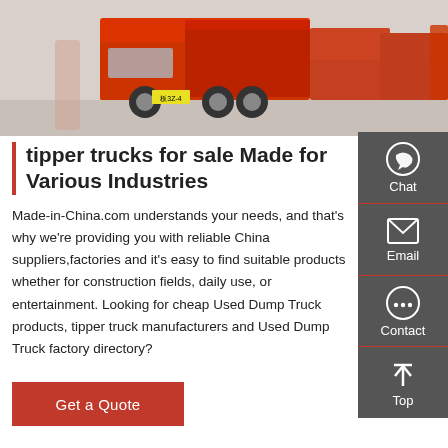[Figure (photo): Row of orange/red tipper dump trucks parked in a lot, photographed from ground level.]
tipper trucks for sale Made for Various Industries
Made-in-China.com understands your needs, and that's why we're providing you with reliable China suppliers,factories and it's easy to find suitable products whether for construction fields, daily use, or entertainment. Looking for cheap Used Dump Truck products, tipper truck manufacturers and Used Dump Truck factory directory?
Get a Quote